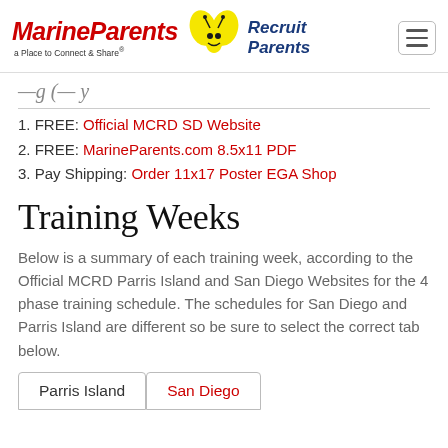[Figure (logo): MarineParents logo with red italic text 'MarineParents', tagline 'a Place to Connect & Share®', yellow bee mascot, and blue 'Recruit Parents' text]
(partial heading text, cut off at top)
1. FREE: Official MCRD SD Website
2. FREE: MarineParents.com 8.5x11 PDF
3. Pay Shipping: Order 11x17 Poster EGA Shop
Training Weeks
Below is a summary of each training week, according to the Official MCRD Parris Island and San Diego Websites for the 4 phase training schedule. The schedules for San Diego and Parris Island are different so be sure to select the correct tab below.
Parris Island | San Diego (tab navigation)